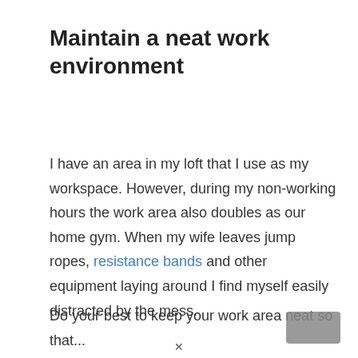Maintain a neat work environment
I have an area in my loft that I use as my workspace. However, during my non-working hours the work area also doubles as our home gym. When my wife leaves jump ropes, resistance bands and other equipment laying around I find myself easily distracted by the mess.
Do your best to keep your work area neat so that...